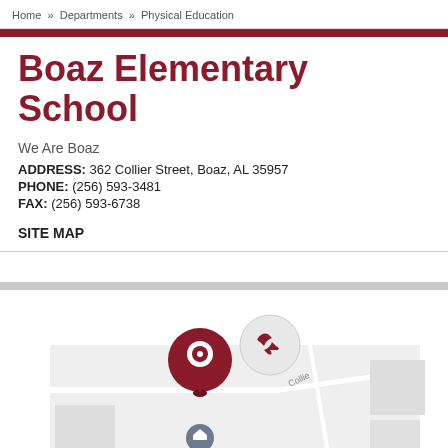Home >> Departments >> Physical Education
Boaz Elementary School
We Are Boaz
ADDRESS: 362 Collier Street, Boaz, AL 35957
PHONE: (256) 593-3481
FAX: (256) 593-6738
SITE MAP
[Figure (map): Google map snippet showing location pin on Collier Street, Boaz AL, with a dark red location marker icon and a chain-link icon nearby, and a school marker below.]